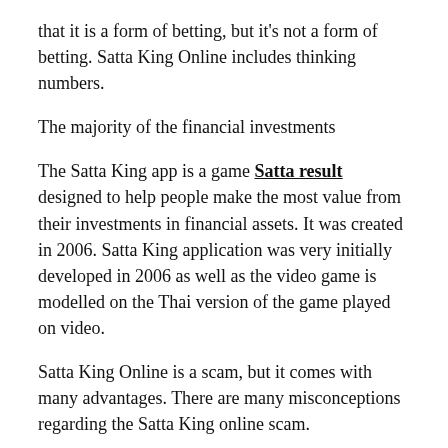that it is a form of betting, but it's not a form of betting. Satta King Online includes thinking numbers.
The majority of the financial investments
The Satta King app is a game Satta result designed to help people make the most value from their investments in financial assets. It was created in 2006. Satta King application was very initially developed in 2006 as well as the video game is modelled on the Thai version of the game played on video.
Satta King Online is a scam, but it comes with many advantages. There are many misconceptions regarding the Satta King online scam.
Final thought